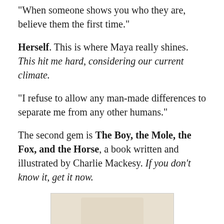“When someone shows you who they are, believe them the first time.”
Herself. This is where Maya really shines. This hit me hard, considering our current climate.
“I refuse to allow any man-made differences to separate me from any other humans.”
The second gem is The Boy, the Mole, the Fox, and the Horse, a book written and illustrated by Charlie Mackesy. If you don’t know it, get it now.
[Figure (photo): A handwritten quote from The Boy, the Mole, the Fox, and the Horse reading: 'I wonder if there is a school of unlearning' with a small illustration below.]